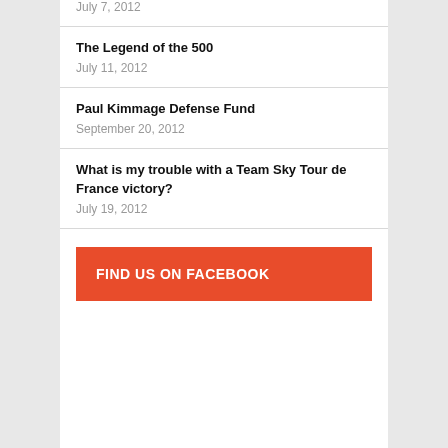July 7, 2012
The Legend of the 500
July 11, 2012
Paul Kimmage Defense Fund
September 20, 2012
What is my trouble with a Team Sky Tour de France victory?
July 19, 2012
FIND US ON FACEBOOK